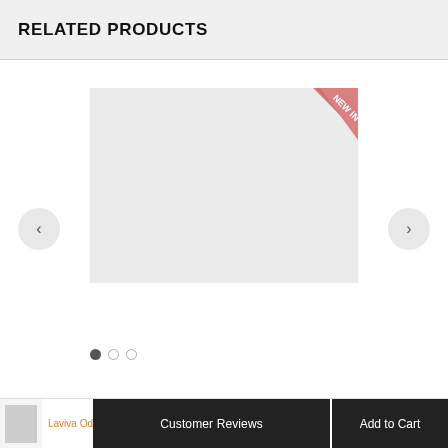RELATED PRODUCTS
[Figure (photo): Product image placeholder (grey square) with a pink 'NEW IN' corner ribbon badge. Carousel navigation with left and right arrow buttons, and three pagination dots (first filled, two empty).]
Laviva Od
Customer Reviews
Add to Cart